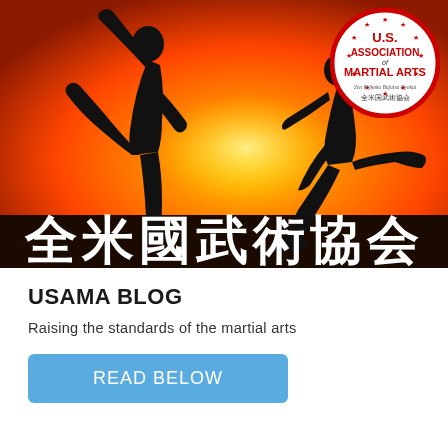[Figure (illustration): Hero banner image showing silhouettes of two martial artists sparring against an orange sunset sky. White kanji characters '全米國武術協會' displayed at the bottom of the image. A circular logo for 'U.S. Association of Martial Arts' (Zen Beikoku Bujutsu Kyokai / 全米国武術協会) with red border appears in the top-right corner.]
USAMA BLOG
Raising the standards of the martial arts
READ BELOW